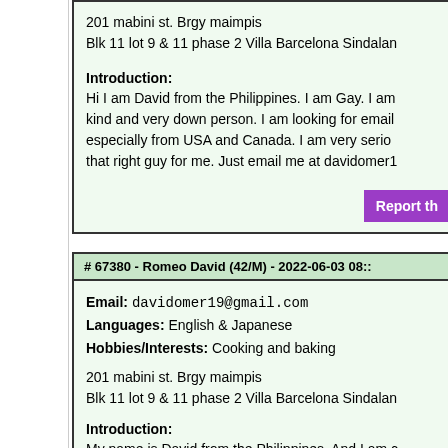201 mabini st. Brgy maimpis
Blk 11 lot 9 & 11 phase 2 Villa Barcelona Sindalan
Introduction:
Hi I am David from the Philippines. I am Gay. I am kind and very down person. I am looking for email especially from USA and Canada. I am very serio... that right guy for me. Just email me at davidomer1...
Report th...
# 67380 - Romeo David (42/M) - 2022-06-03 08::
Email: davidomer19@gmail.com
Languages: English & Japanese
Hobbies/Interests: Cooking and baking
201 mabini st. Brgy maimpis
Blk 11 lot 9 & 11 phase 2 Villa Barcelona Sindalan
Introduction:
My name is David from the Philippines. And I am ... live in the province of Pampanga. I am a simple G... down to earth person. I am looking for a guy that v... I am without any condition. Because I believe tha... though I was hurt by several times I am still hopin...